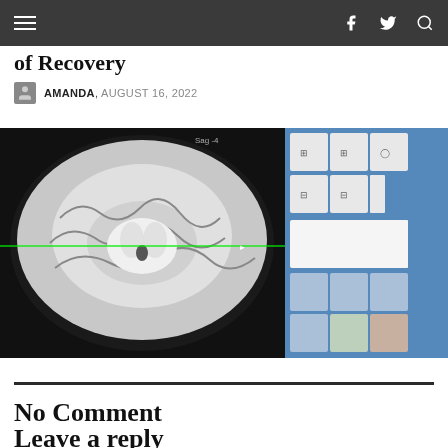Navigation bar with hamburger menu, Facebook, Twitter, and search icons
of Recovery
AMANDA, AUGUST 16, 2022
[Figure (photo): MRI brain scan image showing axial view of the brain with a green crosshair line overlay, alongside a medical imaging software panel on the right side showing thumbnail views of different brain scan orientations.]
No Comment
Leave a reply